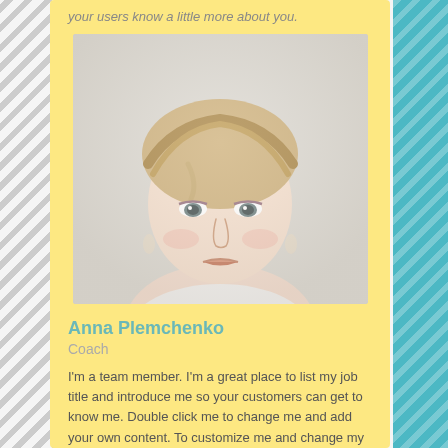your users know a little more about you.
[Figure (photo): Headshot of a young woman with braided updo hairstyle, light makeup, wearing a white top, against a light background.]
Anna Plemchenko
Coach
I'm a team member. I'm a great place to list my job title and introduce me so your customers can get to know me. Double click me to change me and add your own content. To customize me and change my